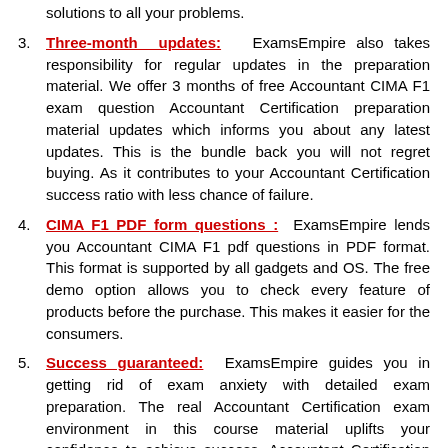solutions to all your problems.
Three-month updates: ExamsEmpire also takes responsibility for regular updates in the preparation material. We offer 3 months of free Accountant CIMA F1 exam question Accountant Certification preparation material updates which informs you about any latest updates. This is the bundle back you will not regret buying. As it contributes to your Accountant Certification success ratio with less chance of failure.
CIMA F1 PDF form questions : ExamsEmpire lends you Accountant CIMA F1 pdf questions in PDF format. This format is supported by all gadgets and OS. The free demo option allows you to check every feature of products before the purchase. This makes it easier for the consumers.
Success guaranteed: ExamsEmpire guides you in getting rid of exam anxiety with detailed exam preparation. The real Accountant Certification exam environment in this course material uplifts your confidence to achieve success. Accountant Certification certified professionals have